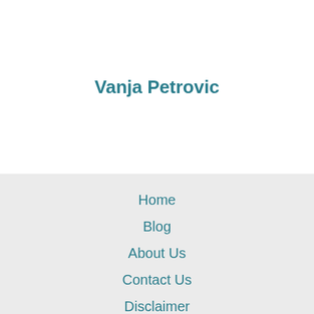Vanja Petrovic
Home
Blog
About Us
Contact Us
Disclaimer